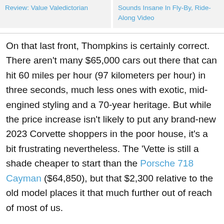Review: Value Valedictorian | Sounds Insane In Fly-By, Ride-Along Video
On that last front, Thompkins is certainly correct. There aren't many $65,000 cars out there that can hit 60 miles per hour (97 kilometers per hour) in three seconds, much less ones with exotic, mid-engined styling and a 70-year heritage. But while the price increase isn't likely to put any brand-new 2023 Corvette shoppers in the poor house, it's a bit frustrating nevertheless. The 'Vette is still a shade cheaper to start than the Porsche 718 Cayman ($64,850), but that $2,300 relative to the old model places it that much further out of reach of most of us.
Source: Corvette Blogger